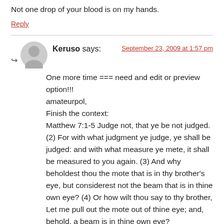Not one drop of your blood is on my hands.
Reply
Keruso says:
September 23, 2009 at 1:57 pm
One more time === need and edit or preview option!!!
amateurpol,
Finish the context:
Matthew 7:1-5 Judge not, that ye be not judged. (2) For with what judgment ye judge, ye shall be judged: and with what measure ye mete, it shall be measured to you again. (3) And why beholdest thou the mote that is in thy brother's eye, but considerest not the beam that is in thine own eye? (4) Or how wilt thou say to thy brother, Let me pull out the mote out of thine eye; and, behold, a beam is in thine own eye?
(5) ====) Thou hypocrite (====, ====) first (==== cast out the